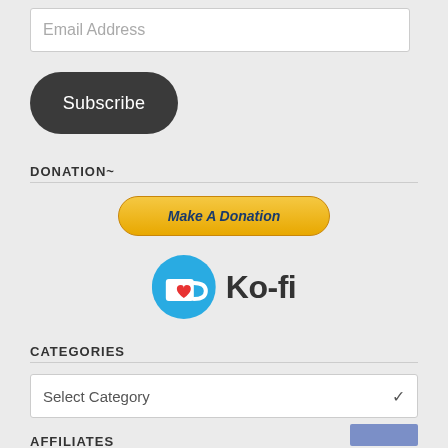Email Address
[Figure (other): Subscribe button — dark rounded rectangle with white text 'Subscribe']
DONATION~
[Figure (other): Make A Donation button — gold/yellow gradient rounded button with dark blue italic bold text]
[Figure (logo): Ko-fi logo — blue circle with white coffee cup and red heart icon, followed by 'Ko-fi' text in dark color]
CATEGORIES
Select Category
AFFILIATES